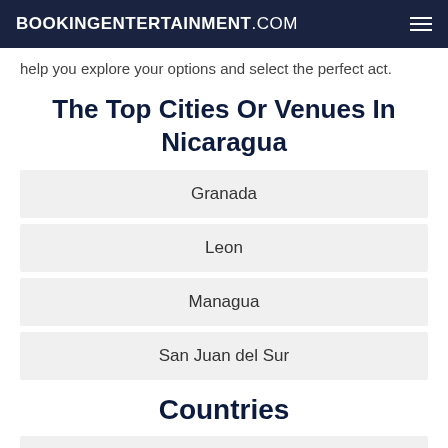BOOKINGENTERTAINMENT.COM
help you explore your options and select the perfect act.
The Top Cities Or Venues In Nicaragua
Granada
Leon
Managua
San Juan del Sur
Countries
Anguilla